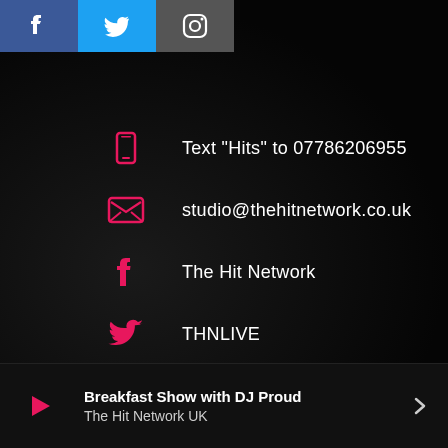[Figure (other): Social media buttons at top: Facebook (blue), Twitter (light blue), Instagram (grey) icons]
Text "Hits" to 07786206955
studio@thehitnetwork.co.uk
The Hit Network
THNLIVE
The Hit Network UK
Breakfast Show with DJ Proud
The Hit Network UK